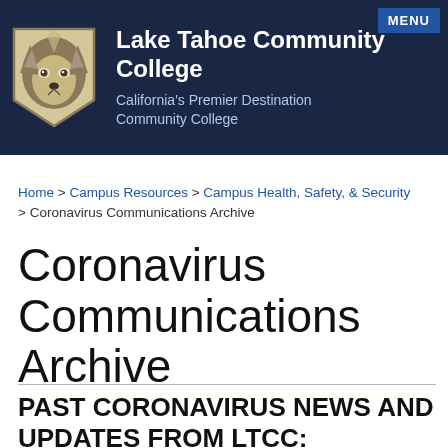Lake Tahoe Community College — California's Premier Destination Community College
Home > Campus Resources > Campus Health, Safety, & Security > Coronavirus Communications Archive
Coronavirus Communications Archive
PAST CORONAVIRUS NEWS AND UPDATES FROM LTCC: